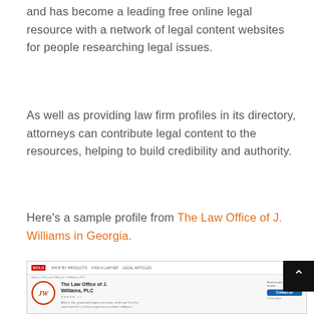and has become a leading free online legal resource with a network of legal content websites for people researching legal issues.
As well as providing law firm profiles in its directory, attorneys can contribute legal content to the resources, helping to build credibility and authority.
Here's a sample profile from The Law Office of J. Williams in Georgia.
[Figure (screenshot): Screenshot of a Nolo.com law firm profile page for The Law Office of J. Williams, PLC, showing the firm logo (JW monogram in a circle), firm name, contact us button, star ratings, and a brief description.]